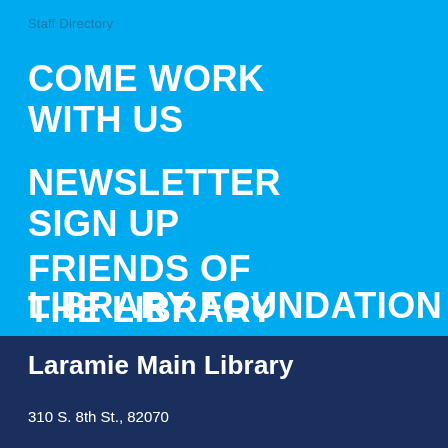Staff Directory
COME WORK WITH US
NEWSLETTER SIGN UP
FRIENDS OF THE LIBRARY
LIBRARY FOUNDATION
Laramie Main Library
310 S. 8th St., 82070